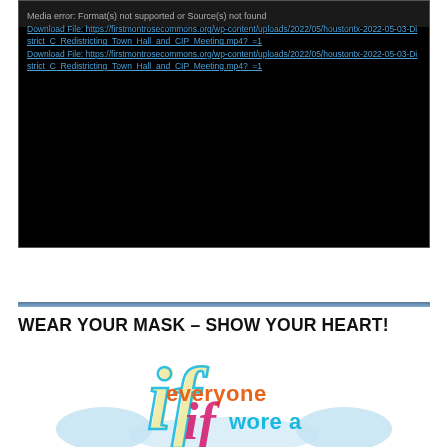[Figure (screenshot): Video player error box with black background showing 'Media error: Format(s) not supported or Source(s) not found' and two download file links to a Houston TX redistricting town hall MP4 video file]
Download File: https://firstmontrosecommons.org/wp-content/uploads/2022/05/houstontx-2022-05-03-District_C_Redistricting_Town_Hall_and_CIP_Meeting.mp4?_=1
Download File: https://firstmontrosecommons.org/wp-content/uploads/2022/05/houstontx-2022-05-03-District_C_Redistricting_Town_Hall_and_CIP_Meeting.mp4?_=1
WEAR YOUR MASK – SHOW YOUR HEART!
[Figure (illustration): Colorful logo/illustration with text 'if everyone if wore a' in orange, magenta, and blue decorative script lettering with light blue mask/cloud shapes in background]